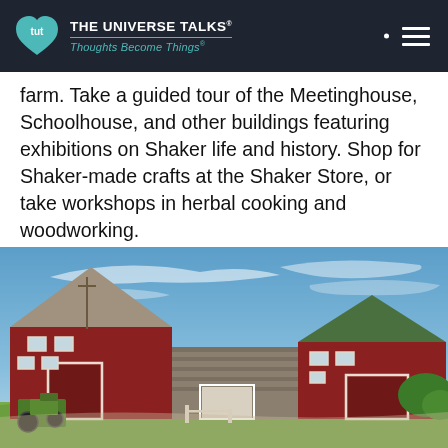THE UNIVERSE TALKS® Thoughts Become Things®
farm. Take a guided tour of the Meetinghouse, Schoolhouse, and other buildings featuring exhibitions on Shaker life and history. Shop for Shaker-made crafts at the Shaker Store, or take workshops in herbal cooking and woodworking.
[Figure (photo): Photograph of a historic Shaker farm with red wooden barn buildings and a central shingled structure under a blue sky with wispy clouds. A green tractor is visible at the lower left.]